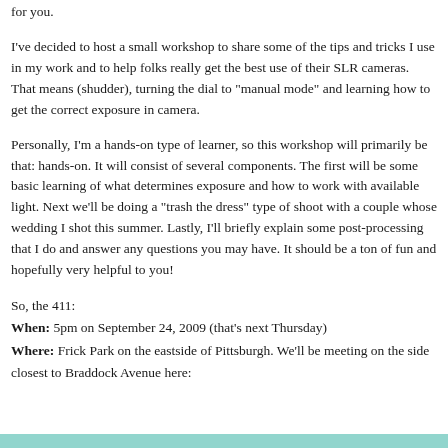for you.
I've decided to host a small workshop to share some of the tips and tricks I use in my work and to help folks really get the best use of their SLR cameras. That means (shudder), turning the dial to "manual mode" and learning how to get the correct exposure in camera.
Personally, I'm a hands-on type of learner, so this workshop will primarily be that: hands-on. It will consist of several components. The first will be some basic learning of what determines exposure and how to work with available light. Next we'll be doing a "trash the dress" type of shoot with a couple whose wedding I shot this summer. Lastly, I'll briefly explain some post-processing that I do and answer any questions you may have. It should be a ton of fun and hopefully very helpful to you!
So, the 411:
When: 5pm on September 24, 2009 (that's next Thursday)
Where: Frick Park on the eastside of Pittsburgh. We'll be meeting on the side closest to Braddock Avenue here: